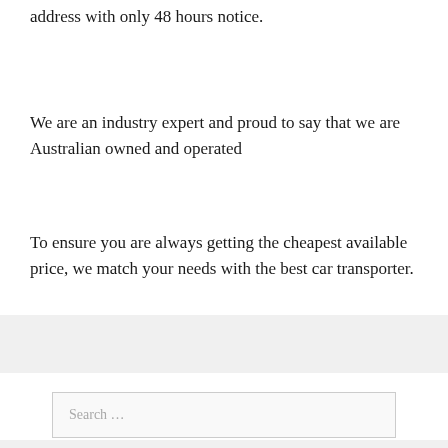address with only 48 hours notice.
We are an industry expert and proud to say that we are Australian owned and operated
To ensure you are always getting the cheapest available price, we match your needs with the best car transporter.
Search …